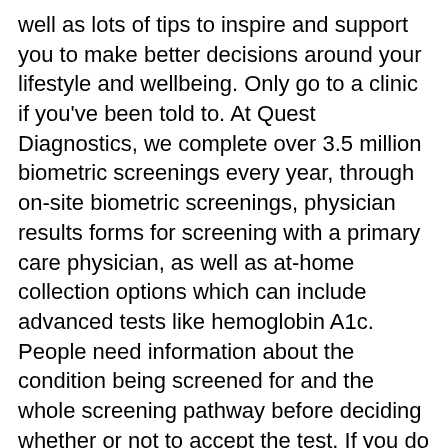well as lots of tips to inspire and support you to make better decisions around your lifestyle and wellbeing. Only go to a clinic if you've been told to. At Quest Diagnostics, we complete over 3.5 million biometric screenings every year, through on-site biometric screenings, physician results forms for screening with a primary care physician, as well as at-home collection options which can include advanced tests like hemoglobin A1c. People need information about the condition being screened for and the whole screening pathway before deciding whether or not to accept the test. If you do not ... Visit coronavirus.gov for the latest Coronavirus Disease (COVID-19) updates. Life Line Screening offers more than 15 preventive screening options, providing comprehensive health screening services for anyone age 50+. Some screening tests may cause bleeding or other health problems. | ResetEra If you live in Georgia your vote can decide the fate of the US Senate. All screening tests have potential risks. This selection of ultrasound.